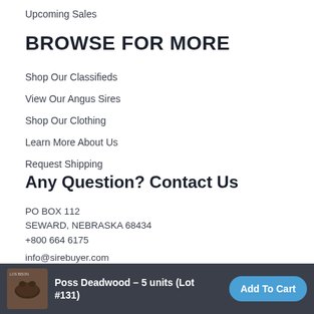Upcoming Sales
BROWSE FOR MORE
Shop Our Classifieds
View Our Angus Sires
Shop Our Clothing
Learn More About Us
Request Shipping
Any Question? Contact Us
PO BOX 112
SEWARD, NEBRASKA 68434
+800 664 6175
info@sirebuyer.com
Help Center
[Figure (illustration): Row of social media icons: facebook, twitter, google+, instagram, linkedin — all circular outline style]
Poss Deadwood – 5 units (Lot #131) | Add To Cart